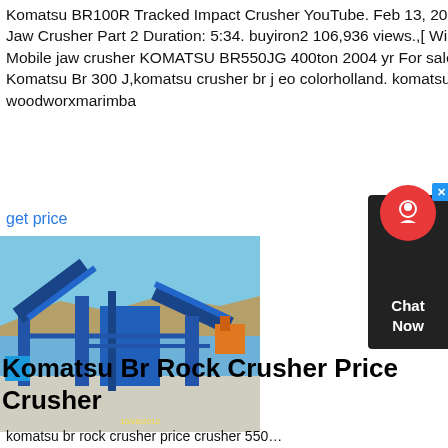Komatsu BR100R Tracked Impact Crusher YouTube. Feb 13, 2018 Komatsu BR 300 J Jaw Crusher Part 2 Duration: 5:34. buyiron2 106,936 views.,[ Winwin Used Machinery ] Mobile jaw crusher KOMATSU BR550JG 400ton 2004 yr For saleJual Spare Part Crusher Komatsu Br 300 J,komatsu crusher br j eo colorholland. komatsu crusher br j eo woodworxmarimba
get price
[Figure (photo): Industrial blue mobile crusher/conveyor plant setup outdoors on concrete pad, clear blue sky background, dated 10/28/2012]
[Figure (other): Chat Now widget with red circle icon and dark background]
Komatsu Br Rock Crusher Price Crusher
komatsu br rock crusher price crusher 550...